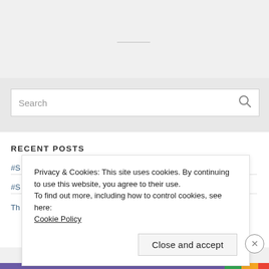[Figure (screenshot): Search bar UI element with placeholder text 'Search' and a magnifying glass icon on the right]
RECENT POSTS
#S
#S
Th
Privacy & Cookies: This site uses cookies. By continuing to use this website, you agree to their use. To find out more, including how to control cookies, see here: Cookie Policy
Close and accept
Advertisements